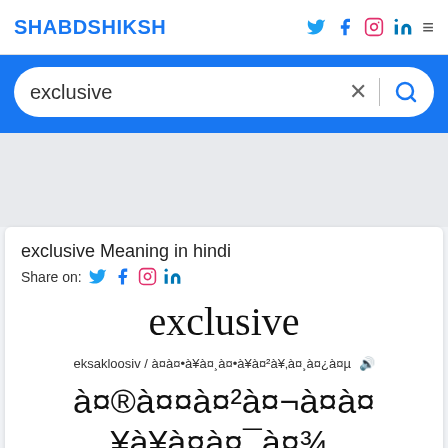SHABDSHIKSHA
exclusive
exclusive Meaning in hindi
Share on:
exclusive
eksakloosiv / एक्सक्लूसिव
मतलब एक्सक्लूसिव का